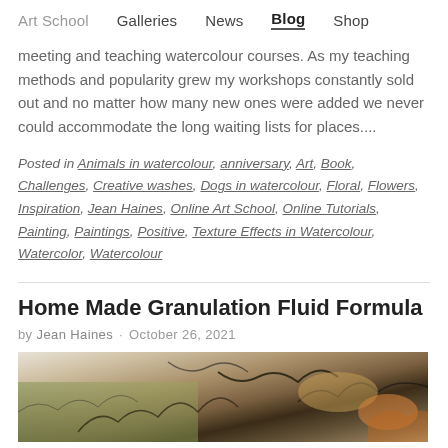Art School   Galleries   News   Blog   Shop
meeting and teaching watercolour courses. As my teaching methods and popularity grew my workshops constantly sold out and no matter how many new ones were added we never could accommodate the long waiting lists for places....
Posted in Animals in watercolour, anniversary, Art, Book, Challenges, Creative washes, Dogs in watercolour, Floral, Flowers, Inspiration, Jean Haines, Online Art School, Online Tutorials, Painting, Paintings, Positive, Texture Effects in Watercolour, Watercolor, Watercolour
Home Made Granulation Fluid Formula
by Jean Haines · October 26, 2021
[Figure (photo): Watercolour painting showing organic textures with earthy tones of brown, green and dark brushwork suggesting natural or botanical forms]